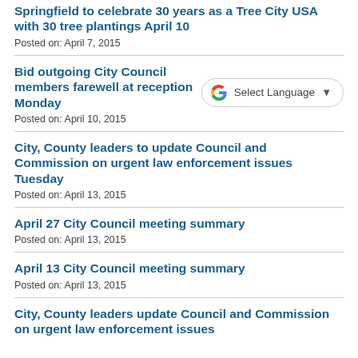Springfield to celebrate 30 years as a Tree City USA with 30 tree plantings April 10
Posted on: April 7, 2015
Bid outgoing City Council members farewell at reception Monday
Posted on: April 10, 2015
City, County leaders to update Council and Commission on urgent law enforcement issues Tuesday
Posted on: April 13, 2015
April 27 City Council meeting summary
Posted on: April 13, 2015
April 13 City Council meeting summary
Posted on: April 13, 2015
City, County leaders update Council and Commission on urgent law enforcement issues